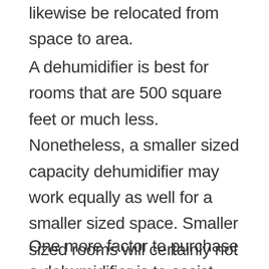likewise be relocated from space to area.
A dehumidifier is best for rooms that are 500 square feet or much less. Nonetheless, a smaller sized capacity dehumidifier may work equally as well for a smaller sized space. Smaller sized rooms will certainly not take advantage of a bigger capacity machine. But if you're buying a dehumidifier for a tiny space that's exceptionally wet, a high capacity unit will certainly work. Additionally, a smaller dehumidifier is less costly than a larger design.
One more factor to purchase a dehumidifier is to assist protect against mold. Mold and mildew